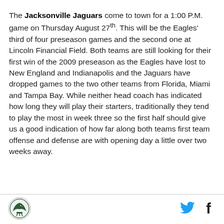The Jacksonville Jaguars come to town for a 1:00 P.M. game on Thursday August 27th. This will be the Eagles' third of four preseason games and the second one at Lincoln Financial Field. Both teams are still looking for their first win of the 2009 preseason as the Eagles have lost to New England and Indianapolis and the Jaguars have dropped games to the two other teams from Florida, Miami and Tampa Bay. While neither head coach has indicated how long they will play their starters, traditionally they tend to play the most in week three so the first half should give us a good indication of how far along both teams first team offense and defense are with opening day a little over two weeks away.
[Figure (logo): Eagles logo — eagle emblem in teal/dark colors, circular badge style]
[Figure (logo): Twitter bird icon in teal/blue]
[Figure (logo): Facebook 'f' icon in dark/black]